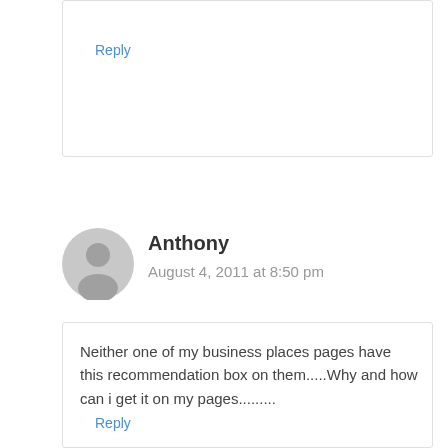Reply
Anthony
August 4, 2011 at 8:50 pm
Neither one of my business places pages have this recommendation box on them.....Why and how can i get it on my pages.........
Reply